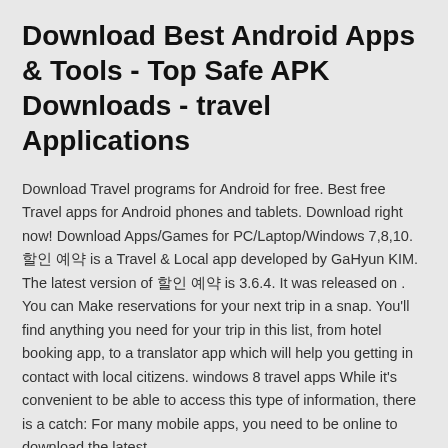Download Best Android Apps & Tools - Top Safe APK Downloads - travel Applications
Download Travel programs for Android for free. Best free Travel apps for Android phones and tablets. Download right now! Download Apps/Games for PC/Laptop/Windows 7,8,10. 할인 예약 is a Travel & Local app developed by GaHyun KIM. The latest version of 할인 예약 is 3.6.4. It was released on . You can Make reservations for your next trip in a snap. You'll find anything you need for your trip in this list, from hotel booking app, to a translator app which will help you getting in contact with local citizens. windows 8 travel apps While it's convenient to be able to access this type of information, there is a catch: For many mobile apps, you need to be online to download the latest